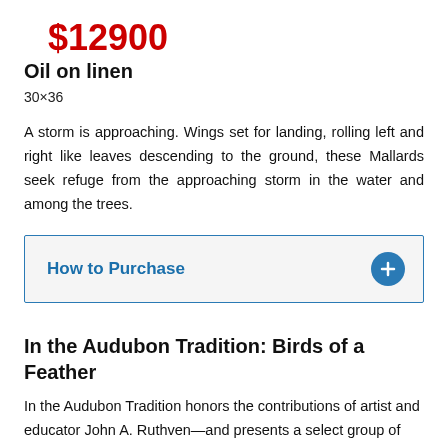$12900
Oil on linen
30×36
A storm is approaching. Wings set for landing, rolling left and right like leaves descending to the ground, these Mallards seek refuge from the approaching storm in the water and among the trees.
How to Purchase
In the Audubon Tradition: Birds of a Feather
In the Audubon Tradition honors the contributions of artist and educator John A. Ruthven—and presents a select group of elite contemporary artists inspired by the work of John James